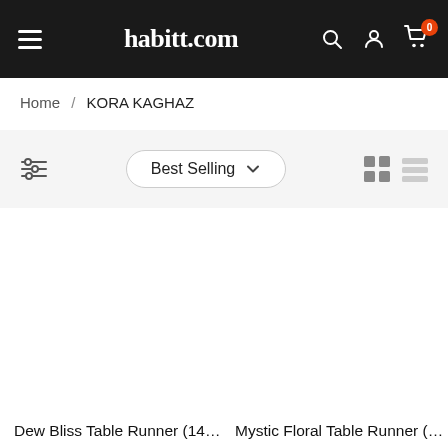habitt.com — navigation bar with hamburger menu, search, account, and cart (0 items)
Home / KORA KAGHAZ
Best Selling (sort dropdown) — grid/list view toggle
Dew Bliss Table Runner (14…
Mystic Floral Table Runner (…